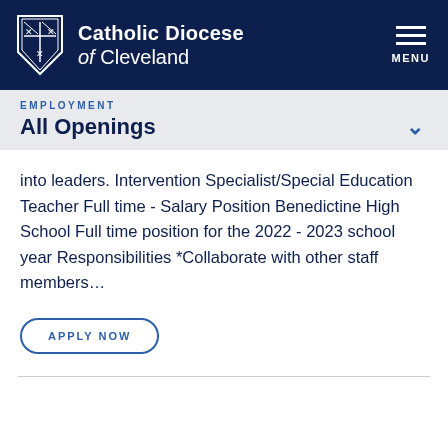Catholic Diocese of Cleveland
EMPLOYMENT
All Openings
into leaders. Intervention Specialist/Special Education Teacher Full time - Salary Position Benedictine High School Full time position for the 2022 - 2023 school year Responsibilities *Collaborate with other staff members…
APPLY NOW